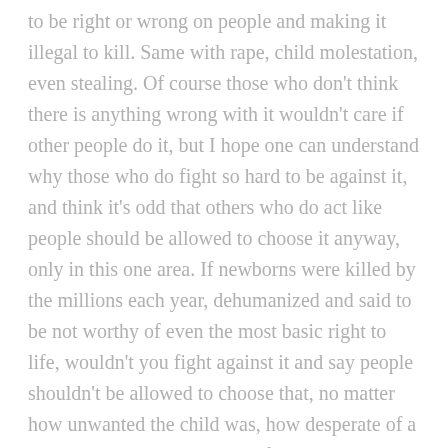to be right or wrong on people and making it illegal to kill. Same with rape, child molestation, even stealing. Of course those who don't think there is anything wrong with it wouldn't care if other people do it, but I hope one can understand why those who do fight so hard to be against it, and think it's odd that others who do act like people should be allowed to choose it anyway, only in this one area. If newborns were killed by the millions each year, dehumanized and said to be not worthy of even the most basic right to life, wouldn't you fight against it and say people shouldn't be allowed to choose that, no matter how unwanted the child was, how desperate of a situation the mother is in, or if they did everything right and the condom just happened to break?

Also, the “it has to be legal to be safe” thing is a myth.